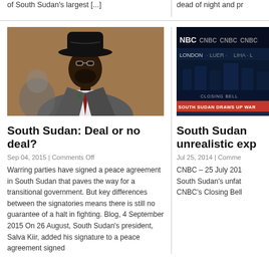of South Sudan's largest [...]
dead of night and pr
[Figure (photo): Photo of a man wearing a black cowboy hat and suit with red tie, smiling]
South Sudan: Deal or no deal?
Sep 04, 2015 | Comments Off
Warring parties have signed a peace agreement in South Sudan that paves the way for a transitional government. But key differences between the signatories means there is still no guarantee of a halt in fighting. Blog, 4 September 2015 On 26 August, South Sudan's president, Salva Kiir, added his signature to a peace agreement signed
[Figure (screenshot): CNBC news screenshot showing 'SOUTH SUDAN DRAWS UP WAR' headline with CNBC logo and Closing Bell banner]
South Sudan unrealistic exp
Jul 25, 2014 | Comme
CNBC – 25 July 201 South Sudan's unfat CNBC's Closing Bell